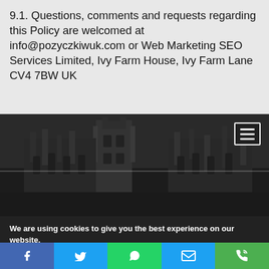9.1. Questions, comments and requests regarding this Policy are welcomed at info@pozyczkiwuk.com or Web Marketing SEO Services Limited, Ivy Farm House, Ivy Farm Lane CV4 7BW UK
[Figure (photo): Black and white photograph of a Gothic cathedral (likely Westminster or similar), shown from a low angle. A horizontal white dividing line crosses the middle of the image. A hamburger menu icon is in the top-right corner.]
We are using cookies to give you the best experience on our website.
You can find out more about which cookies we are using or switch them off in settings.
[Figure (infographic): Social media share bar with five buttons: Facebook (dark blue), Twitter (light blue), WhatsApp (green), Email (light blue), Phone (green), each with white icons.]